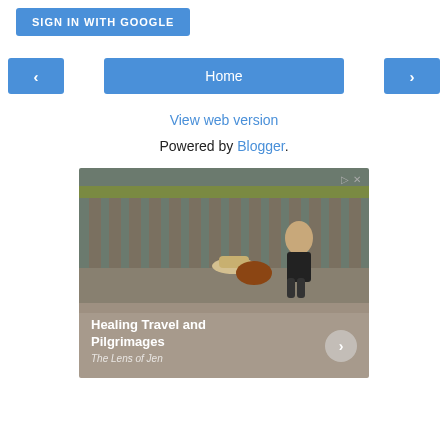[Figure (screenshot): Blue 'SIGN IN WITH GOOGLE' button]
[Figure (screenshot): Navigation bar with left arrow, Home button, and right arrow]
View web version
Powered by Blogger.
[Figure (photo): Advertisement image showing a woman sitting in front of a mossy stone railing in a park setting, with text 'Healing Travel and Pilgrimages' and subtitle 'The Lens of Jen']